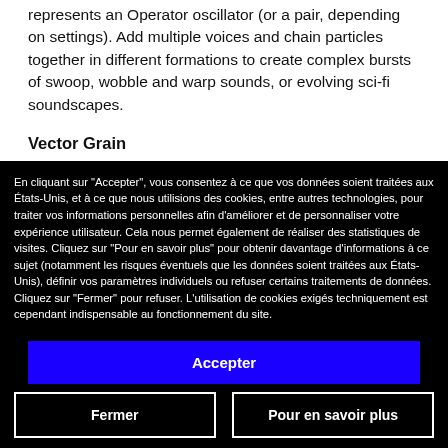represents an Operator oscillator (or a pair, depending on settings). Add multiple voices and chain particles together in different formations to create complex bursts of swoop, wobble and warp sounds, or evolving sci-fi soundscapes.
Vector Grain
Vector Grain is a granular looper – here the particles represent grains of a sample being played. Map the
En cliquant sur "Accepter", vous consentez à ce que vos données soient traitées aux États-Unis, et à ce que nous utilisions des cookies, entre autres technologies, pour traiter vos informations personnelles afin d'améliorer et de personnaliser votre expérience utilisateur. Cela nous permet également de réaliser des statistiques de visites. Cliquez sur "Pour en savoir plus" pour obtenir davantage d'informations à ce sujet (notamment les risques éventuels que les données soient traitées aux États-Unis), définir vos paramètres individuels ou refuser certains traitements de données. Cliquez sur "Fermer" pour refuser. L'utilisation de cookies exigés techniquement est cependant indispensable au fonctionnement du site.
Accepter
Fermer
Pour en savoir plus